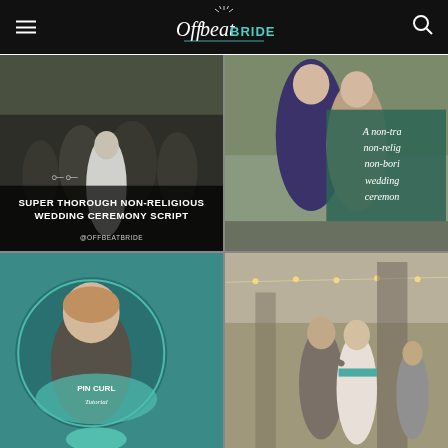Offbeat Bride
[Figure (photo): Wedding group photo outdoors with text overlay: SUPER THOROUGH NON-RELIGIOUS WEDDING CEREMONY SCRIPT @OFFBEATBRIDE]
[Figure (photo): Two women kissing at wedding with teal overlay text: A non-traditional, non-religious, non-boring wedding ceremony @OFFBEATBRIDE]
[Figure (photo): Vintage-style woman on teal background with circular frame, text: PIN CURL Tutorial]
[Figure (photo): Father-daughter wedding dance outdoors with string lights]